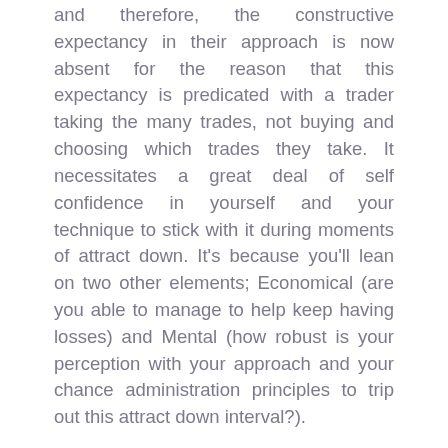and therefore, the constructive expectancy in their approach is now absent for the reason that this expectancy is predicated with a trader taking the many trades, not buying and choosing which trades they take. It necessitates a great deal of self confidence in yourself and your technique to stick with it during moments of attract down. It's because you'll lean on two other elements; Economical (are you able to manage to help keep having losses) and Mental (how robust is your perception with your approach and your chance administration principles to trip out this attract down interval?).
2. Monetary: this component addresses your chance administration and consists of earning decisions concerning commencing funds, posture size, hazard for every trade, reward per trade, prevent reduction amounts (in case you opt for to implement them), financial gain targets and so forth. New traders will wipe